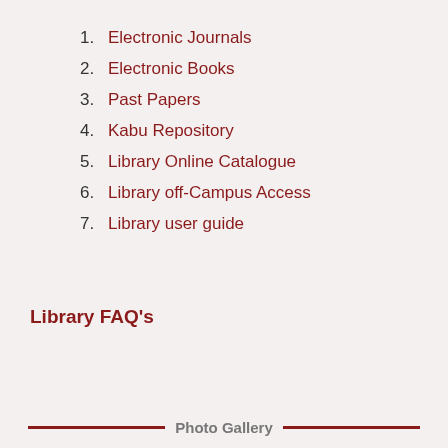1. Electronic Journals
2. Electronic Books
3. Past Papers
4. Kabu Repository
5. Library Online Catalogue
6. Library off-Campus Access
7. Library user guide
Library FAQ's
Photo Gallery